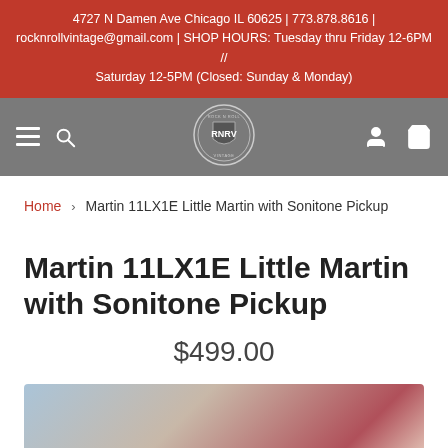4727 N Damen Ave Chicago IL 60625 | 773.878.8616 | rocknrollvintage@gmail.com | SHOP HOURS: Tuesday thru Friday 12-6PM // Saturday 12-5PM (Closed: Sunday & Monday)
[Figure (screenshot): Navigation bar with hamburger menu, search icon, RNRV logo in center, user account icon and cart icon on right, gray background]
Home > Martin 11LX1E Little Martin with Sonitone Pickup
Martin 11LX1E Little Martin with Sonitone Pickup
$499.00
[Figure (photo): Partial product photo of a guitar, blurred/cut off at bottom of page]